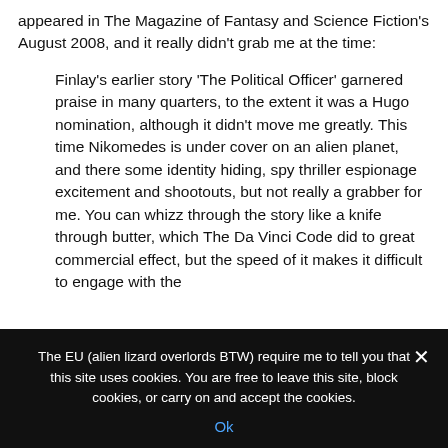appeared in The Magazine of Fantasy and Science Fiction's August 2008, and it really didn't grab me at the time:
Finlay's earlier story 'The Political Officer' garnered praise in many quarters, to the extent it was a Hugo nomination, although it didn't move me greatly. This time Nikomedes is under cover on an alien planet, and there some identity hiding, spy thriller espionage excitement and shootouts, but not really a grabber for me. You can whizz through the story like a knife through butter, which The Da Vinci Code did to great commercial effect, but the speed of it makes it difficult to engage with the
The EU (alien lizard overlords BTW) require me to tell you that this site uses cookies. You are free to leave this site, block cookies, or carry on and accept the cookies.
Ok